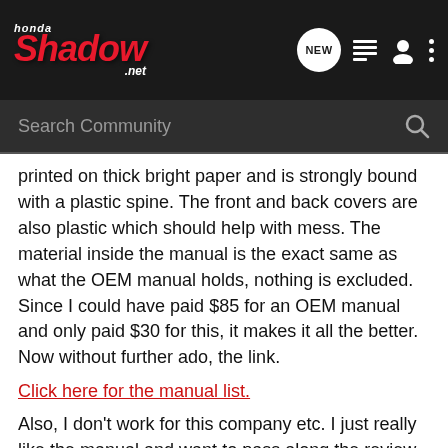Honda Shadow .net — Search Community
printed on thick bright paper and is strongly bound with a plastic spine. The front and back covers are also plastic which should help with mess. The material inside the manual is the exact same as what the OEM manual holds, nothing is excluded. Since I could have paid $85 for an OEM manual and only paid $30 for this, it makes it all the better. Now without further ado, the link.
Click here for the manual list.
Also, I don't work for this company etc. I just really like the manual and want to pass along the review.
"Rabst" Honda Shadow VT600CB '03